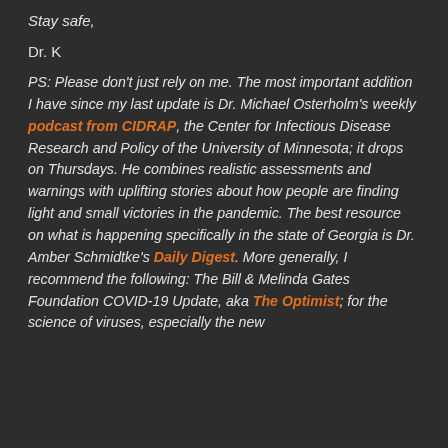Stay safe,
Dr. K
PS: Please don't just rely on me. The most important addition I have since my last update is Dr. Michael Osterholm's weekly podcast from CIDRAP, the Center for Infectious Disease Research and Policy of the University of Minnesota; it drops on Thursdays. He combines realistic assessments and warnings with uplifting stories about how people are finding light and small victories in the pandemic. The best resource on what is happening specifically in the state of Georgia is Dr. Amber Schmidtke's Daily Digest. More generally, I recommend the following: The Bill & Melinda Gates Foundation COVID-19 Update, aka The Optimist; for the science of viruses, especially the new